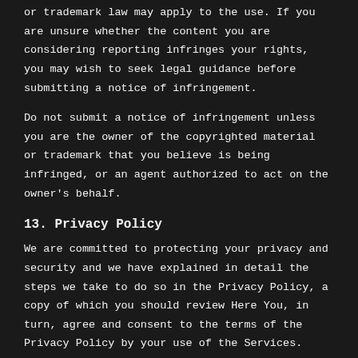or trademark law may apply to the use. If you are unsure whether the content you are considering reporting infringes your rights, you may wish to seek legal guidance before submitting a notice of infringement.
Do not submit a notice of infringement unless you are the owner of the copyrighted material or trademark that you believe is being infringed, or an agent authorized to act on the owner's behalf.
13. Privacy Policy
We are committed to protecting your privacy and security and we have explained in detail the steps we take to do so in the Privacy Policy, a copy of which you should review Here You, in turn, agree and consent to the terms of the Privacy Policy by your use of the Services.
14. DISCLAIMER OF WARRANTIES
THE SERVICES ARE PROVIDED AS IS WE MAKE NO